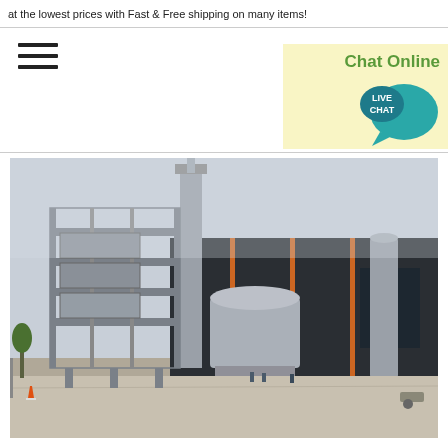at the lowest prices with Fast & Free shipping on many items!
[Figure (screenshot): Hamburger menu icon (three horizontal lines)]
[Figure (screenshot): Chat Online box with teal live chat speech bubble icon in yellow background]
[Figure (photo): Industrial asphalt mixing plant with tall tower structure, silos, and large dark industrial building against an overcast sky]